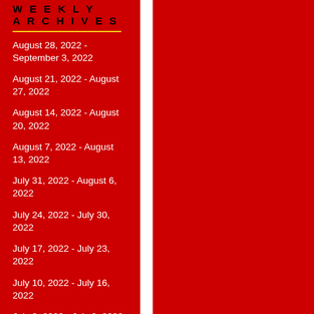WEEKLY ARCHIVES
August 28, 2022 - September 3, 2022
August 21, 2022 - August 27, 2022
August 14, 2022 - August 20, 2022
August 7, 2022 - August 13, 2022
July 31, 2022 - August 6, 2022
July 24, 2022 - July 30, 2022
July 17, 2022 - July 23, 2022
July 10, 2022 - July 16, 2022
July 3, 2022 - July 9, 2022
June 26, 2022 - July 2, 2022